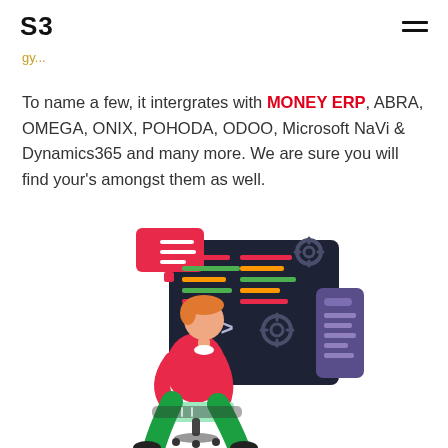S3
To name a few, it intergrates with MONEY ERP, ABRA, OMEGA, ONIX, POHODA, ODOO, Microsoft NaVi & Dynamics365 and many more. We are sure you will find your's amongst them as well.
[Figure (illustration): A developer sitting on a chair using a laptop, with a large dark-themed code editor screen behind them showing colored horizontal lines (representing code), XML/HTML tag symbols </>, gear/settings icons, and a floating purple panel with text lines. A pink/red speech bubble with horizontal lines appears at the top left of the screen.]